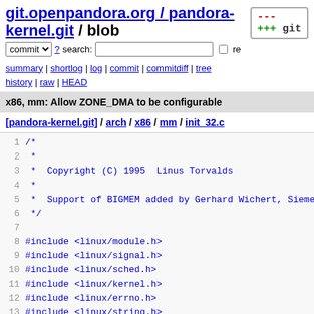git.openpandora.org / pandora-kernel.git / blob
commit ? search: re
summary | shortlog | log | commit | commitdiff | tree history | raw | HEAD
x86, mm: Allow ZONE_DMA to be configurable
[pandora-kernel.git] / arch / x86 / mm / init_32.c
1 /*
2  *
3  *  Copyright (C) 1995  Linus Torvalds
4  *
5  *  Support of BIGMEM added by Gerhard Wichert, Siemens
6  */
7
8 #include <linux/module.h>
9 #include <linux/signal.h>
10 #include <linux/sched.h>
11 #include <linux/kernel.h>
12 #include <linux/errno.h>
13 #include <linux/string.h>
14 #include <linux/types.h>
15 #include <linux/ptrace.h>
16 #include <linux/mman.h>
17 #include <linux/mm.h>
18 #include <linux/hugetlb.h>
19 #include <linux/swap.h>